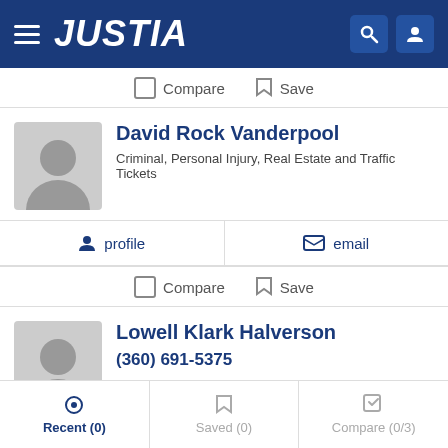JUSTIA
Compare  Save
David Rock Vanderpool
Criminal, Personal Injury, Real Estate and Traffic Tickets
profile   email
Compare  Save
Lowell Klark Halverson
(360) 691-5375
profile   email
Recent (0)  Saved (0)  Compare (0/3)